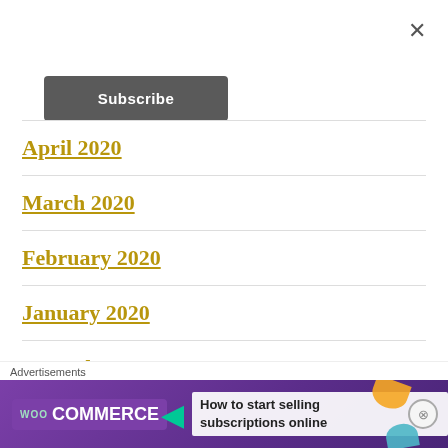×
Subscribe
April 2020
March 2020
February 2020
January 2020
December 2019
Advertisements
[Figure (screenshot): WooCommerce advertisement banner: 'How to start selling subscriptions online']